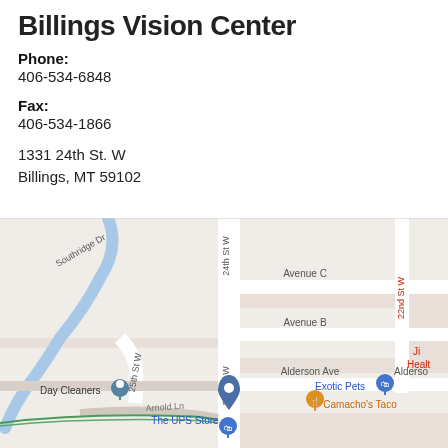Billings Vision Center
Phone:
406-534-6848
Fax:
406-534-1866
1331 24th St. W
Billings, MT 59102
[Figure (map): Google Maps view showing the area around 1331 24th St. W, Billings, MT 59102. Visible street labels: Avenue C, Avenue B, Alderson Ave, 25th St W, 24th St W, 22nd St W, Southridge Dr, Arnold Ln. Nearby businesses labeled: Exotic Pets, The UPS Store, Camacho's Taco, Jiffy Lube / Health (partially visible). Location pin visible near 24th St W.]